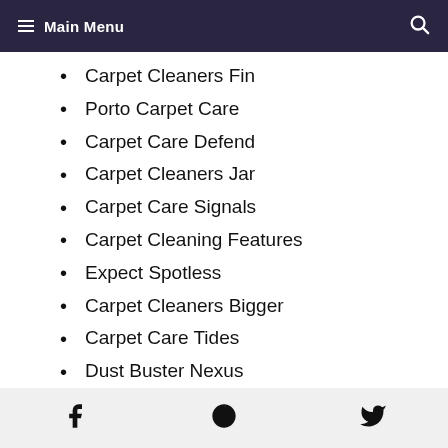Main Menu
Carpet Cleaners Fin
Porto Carpet Care
Carpet Care Defend
Carpet Cleaners Jar
Carpet Care Signals
Carpet Cleaning Features
Expect Spotless
Carpet Cleaners Bigger
Carpet Care Tides
Dust Buster Nexus
Carpet Care Summer
Facebook Pinterest Twitter